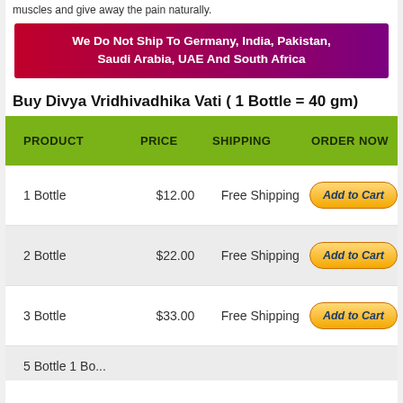muscles and give away the pain naturally.
[Figure (infographic): Red to purple gradient banner with white bold text: We Do Not Ship To Germany, India, Pakistan, Saudi Arabia, UAE And South Africa]
Buy Divya Vridhivadhika Vati ( 1 Bottle = 40 gm)
| PRODUCT | PRICE | SHIPPING | ORDER NOW |
| --- | --- | --- | --- |
| 1 Bottle | $12.00 | Free Shipping | Add to Cart |
| 2 Bottle | $22.00 | Free Shipping | Add to Cart |
| 3 Bottle | $33.00 | Free Shipping | Add to Cart |
| 5 Bottle 1 Bo... |  |  |  |